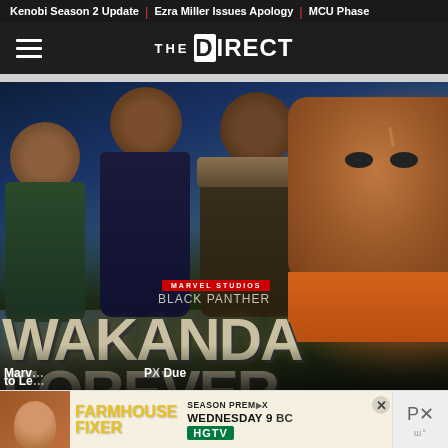Kenobi Season 2 Update | Ezra Miller Issues Apology | MCU Phase
THE DIRECT
[Figure (photo): Black Panther: Wakanda Forever Marvel Studios movie promotional image showing cast members and the film title overlaid on the image]
Marv... to Le... P X Due
[Figure (infographic): Farmhouse Fixer HGTV advertisement banner showing Season Premiere Wednesday 9 BC with host photo]